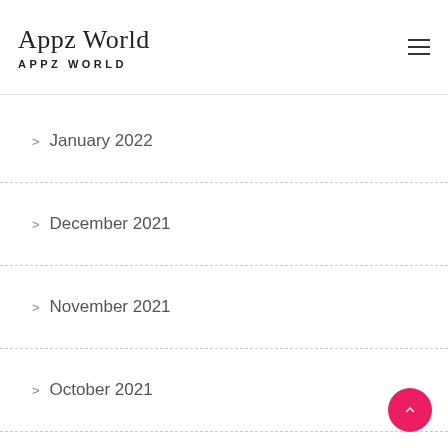Appz World
APPZ WORLD
> January 2022
> December 2021
> November 2021
> October 2021
> September 2021
> August 2021
> July 2021